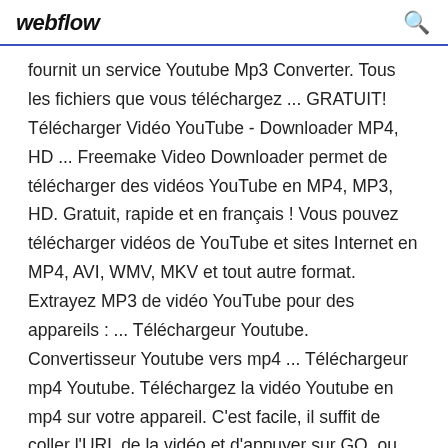webflow
fournit un service Youtube Mp3 Converter. Tous les fichiers que vous téléchargez ... GRATUIT! Télécharger Vidéo YouTube - Downloader MP4, HD ... Freemake Video Downloader permet de télécharger des vidéos YouTube en MP4, MP3, HD. Gratuit, rapide et en français ! Vous pouvez télécharger vidéos de YouTube et sites Internet en MP4, AVI, WMV, MKV et tout autre format. Extrayez MP3 de vidéo YouTube pour des appareils : ... Téléchargeur Youtube. Convertisseur Youtube vers mp4 ... Téléchargeur mp4 Youtube. Téléchargez la vidéo Youtube en mp4 sur votre appareil. C'est facile, il suffit de coller l'URL de la vidéo et d'appuyer sur GO, ou d'utiliser la recherche